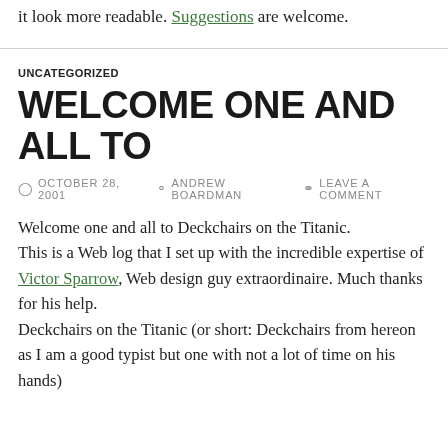it look more readable. Suggestions are welcome.
UNCATEGORIZED
WELCOME ONE AND ALL TO
OCTOBER 28, 2001  ANDREW BOARDMAN  LEAVE A COMMENT
Welcome one and all to Deckchairs on the Titanic. This is a Web log that I set up with the incredible expertise of Victor Sparrow, Web design guy extraordinaire. Much thanks for his help. Deckchairs on the Titanic (or short: Deckchairs from hereon as I am a good typist but one with not a lot of time on his hands)